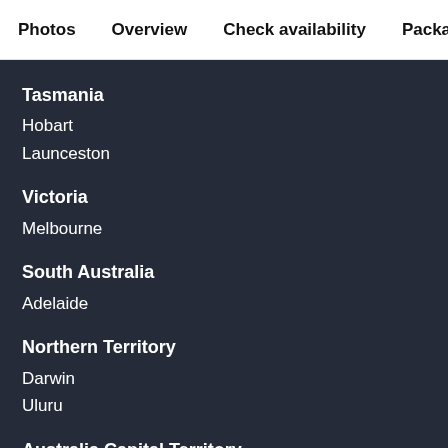Photos   Overview   Check availability   Package op
Tasmania
Hobart
Launceston
Victoria
Melbourne
South Australia
Adelaide
Northern Territory
Darwin
Uluru
Australia Capital Territory